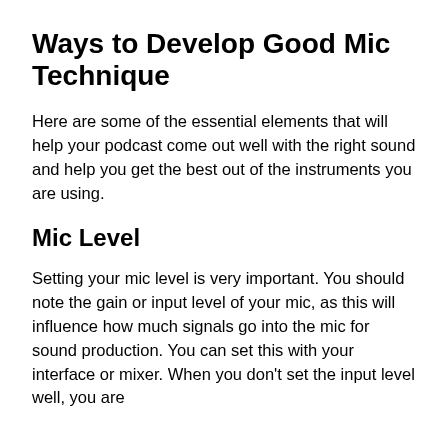Ways to Develop Good Mic Technique
Here are some of the essential elements that will help your podcast come out well with the right sound and help you get the best out of the instruments you are using.
Mic Level
Setting your mic level is very important. You should note the gain or input level of your mic, as this will influence how much signals go into the mic for sound production. You can set this with your interface or mixer. When you don't set the input level well, you are